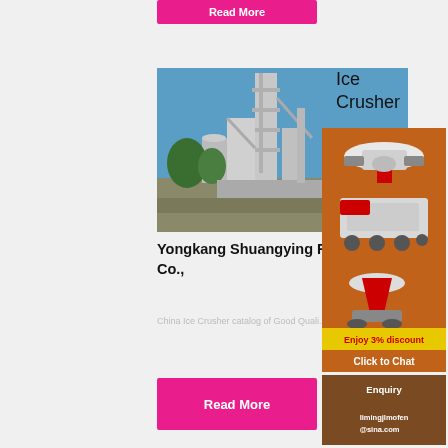[Figure (other): Pink/magenta Read More button at top of page, partially visible]
[Figure (photo): Industrial cement plant or factory with tall silos, conveyor structures, and trees, against a blue sky]
Yongkang Shuangying Food Mac Co.,
China Ice Crusher catalog of Good Quali...
[Figure (illustration): Advertisement banner with orange background showing three industrial crusher machines, a yellow 'Enjoy 3% discount' bar, and an orange 'Click to Chat' bar]
Ice Crusher
[Figure (other): Enquiry section with brown background]
Enquiry
limingjlmofen @sina.com
[Figure (other): Pink/magenta Read More button]